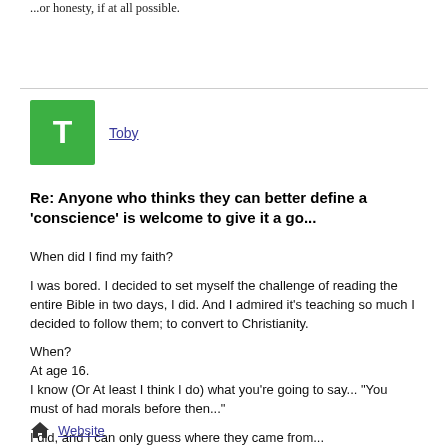...or honesty, if at all possible.
Toby
Re: Anyone who thinks they can better define a 'conscience' is welcome to give it a go...
When did I find my faith?

I was bored. I decided to set myself the challenge of reading the entire Bible in two days, I did. And I admired it's teaching so much I decided to follow them; to convert to Christianity.

When?
At age 16.
I know (Or At least I think I do) what you're going to say... "You must of had morals before then..."

I did, and I can only guess where they came from...
Website